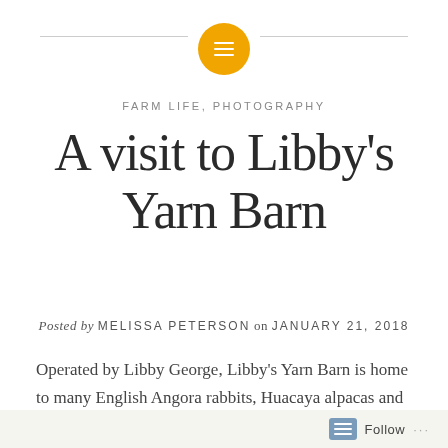[Figure (logo): Golden/amber circular icon with horizontal lines (list icon) centered on a horizontal rule, used as blog header decoration]
FARM LIFE, PHOTOGRAPHY
A visit to Libby's Yarn Barn
Posted by MELISSA PETERSON on JANUARY 21, 2018
Operated by Libby George, Libby's Yarn Barn is home to many English Angora rabbits, Huacaya alpacas and soon to be Cormo sheep. Now a knitting fanatic, she can shear, pick, wash, dye, card and spin her own fiber. She then uses the fiber to knit her own high-quality
Follow ...